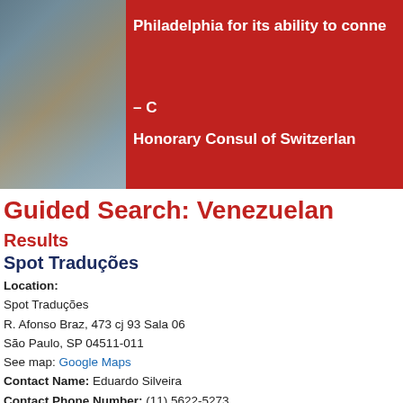[Figure (photo): Banner image with a photo on the left side showing a rocky/watery landscape, and a red background on the right with white bold text: 'Philadelphia for its ability to conne...' and '– C' and 'Honorary Consul of Switzerlan...']
Guided Search: Venezuelan
Results
Spot Traduções
Location:
Spot Traduções
R. Afonso Braz, 473 cj 93 Sala 06
São Paulo, SP 04511-011
See map: Google Maps
Contact Name:  Eduardo Silveira
Contact Phone Number:  (11) 5622-5273
Contact Email Address:  comercial@spottraducoes.com.br
Website:  https://www.spottraducoes.com.br/
Founded in 2015, Spot Traduções provides services in: